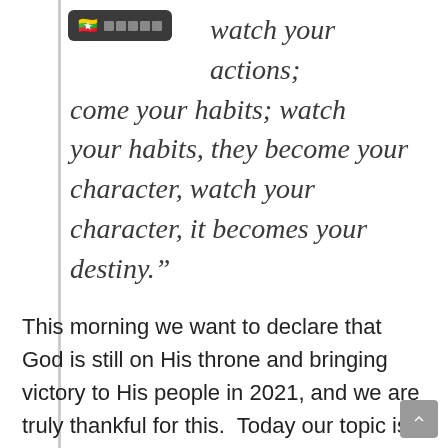watch your actions; ...come your habits; watch your habits, they become your character, watch your character, it becomes your destiny.”
This morning we want to declare that God is still on His throne and bringing victory to His people in 2021, and we are truly thankful for this.  Today our topic is about habits, they say and the holy...